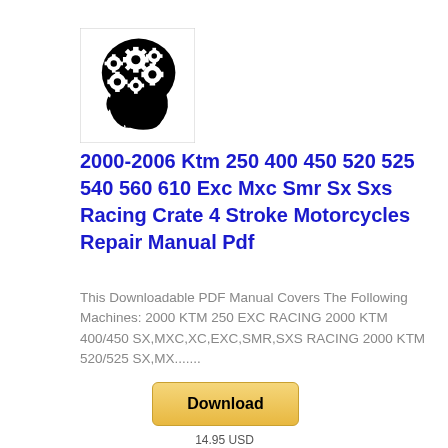[Figure (logo): Black silhouette of a human skull profile with gears/cogs inside the brain area, representing a mechanical/technical repair manual branding logo]
2000-2006 Ktm 250 400 450 520 525 540 560 610 Exc Mxc Smr Sx Sxs Racing Crate 4 Stroke Motorcycles Repair Manual Pdf
This Downloadable PDF Manual Covers The Following Machines: 2000 KTM 250 EXC RACING 2000 KTM 400/450 SX,MXC,XC,EXC,SMR,SXS RACING 2000 KTM 520/525 SX,MX.......
Download
14.95 USD